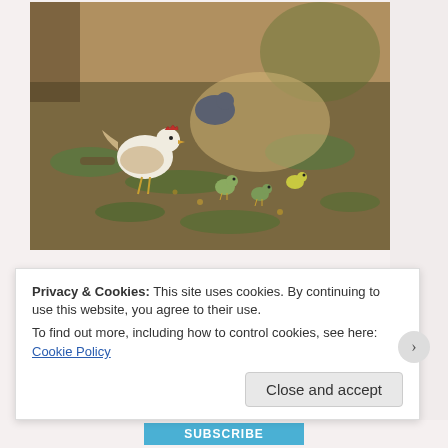[Figure (photo): Outdoor farm scene showing chickens and chicks foraging on bare earth with scattered green patches. A white hen with a red comb is prominent on the left, with smaller chicks visible in the foreground and a darker bird in the background.]
The next morning we gathered and made our way to the kitchen where the hands-on cooking and magic making would take place. Each station under the covered patio had the most beautiful ingredients and the farmers had...
Privacy & Cookies: This site uses cookies. By continuing to use this website, you agree to their use.
To find out more, including how to control cookies, see here: Cookie Policy
Close and accept